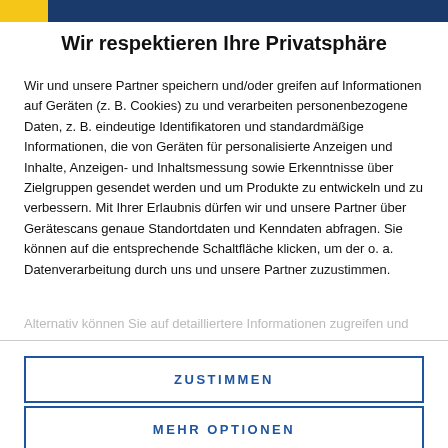Wir respektieren Ihre Privatsphäre
Wir und unsere Partner speichern und/oder greifen auf Informationen auf Geräten (z. B. Cookies) zu und verarbeiten personenbezogene Daten, z. B. eindeutige Identifikatoren und standardmäßige Informationen, die von Geräten für personalisierte Anzeigen und Inhalte, Anzeigen- und Inhaltsmessung sowie Erkenntnisse über Zielgruppen gesendet werden und um Produkte zu entwickeln und zu verbessern. Mit Ihrer Erlaubnis dürfen wir und unsere Partner über Gerätescans genaue Standortdaten und Kenndaten abfragen. Sie können auf die entsprechende Schaltfläche klicken, um der o. a. Datenverarbeitung durch uns und unsere Partner zuzustimmen.
Alternativ können Sie auf detailliertere Informationen zugreifen und
ZUSTIMMEN
MEHR OPTIONEN